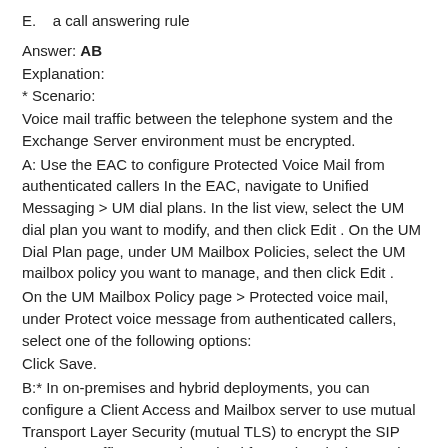E.   a call answering rule
Answer: AB
Explanation:
* Scenario:
Voice mail traffic between the telephone system and the Exchange Server environment must be encrypted.
A: Use the EAC to configure Protected Voice Mail from authenticated callers In the EAC, navigate to Unified Messaging > UM dial plans. In the list view, select the UM dial plan you want to modify, and then click Edit . On the UM Dial Plan page, under UM Mailbox Policies, select the UM mailbox policy you want to manage, and then click Edit .
On the UM Mailbox Policy page > Protected voice mail, under Protect voice message from authenticated callers, select one of the following options:
Click Save.
B:* In on-premises and hybrid deployments, you can configure a Client Access and Mailbox server to use mutual Transport Layer Security (mutual TLS) to encrypt the SIP and RTP traffic sent and received from other devices and servers. When you configure the dial plan to use SIP secured mode, only the SIP signaling traffic